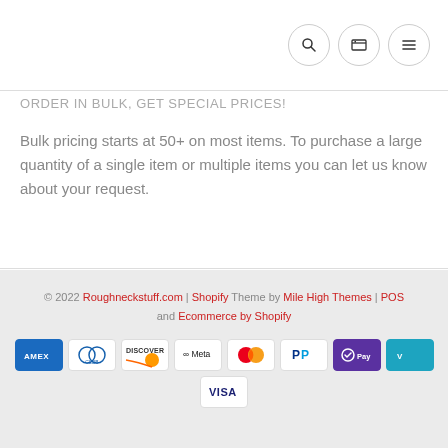[search] [cart] [menu] icons
ORDER IN BULK, GET SPECIAL PRICES!
Bulk pricing starts at 50+ on most items. To purchase a large quantity of a single item or multiple items you can let us know about your request.
© 2022 Roughneckstuff.com | Shopify Theme by Mile High Themes | POS and Ecommerce by Shopify [payment icons: AMEX, Diners, Discover, Meta, Mastercard, PayPal, Shop Pay, Venmo, Visa]